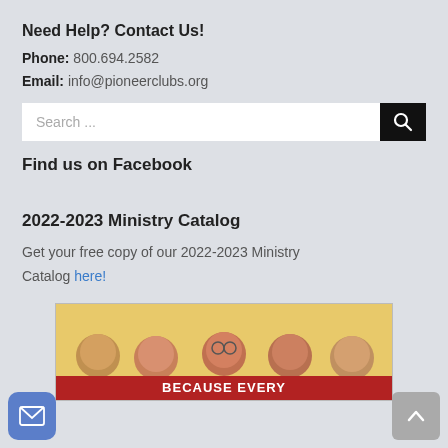Need Help? Contact Us!
Phone: 800.694.2582
Email: info@pioneerclubs.org
Find us on Facebook
2022-2023 Ministry Catalog
Get your free copy of our 2022-2023 Ministry Catalog here!
[Figure (photo): Photo of children peeking over a red banner that says BECAUSE EVERY, used for the 2022-2023 Ministry Catalog promotion.]